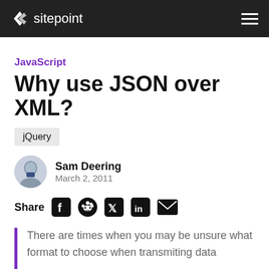sitepoint
JavaScript
Why use JSON over XML?
jQuery
Sam Deering
March 2, 2011
Share
There are times when you may be unsure what format to choose when transmiting data